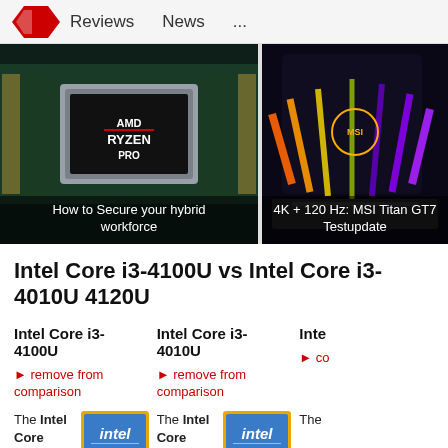Reviews   News   ...
[Figure (photo): AMD Ryzen Pro chip close-up with caption: How to Secure your hybrid workforce]
[Figure (photo): MSI Titan GT7 laptop with colorful RGB lighting and caption: 4K + 120 Hz: MSI Titan GT7 Testupdate]
Intel Core i3-4100U vs Intel Core i3-4010U 4120U
Intel Core i3-4100U
remove from comparison
Intel Core i3-4010U
remove from comparison
Intel Core i3-4120U (partial)
remove from comparison (partial)
The Intel Core i3-4100U is an
[Figure (logo): Intel logo badge blue/gold chip]
The Intel Core i3-4010U is an
[Figure (logo): Intel logo badge blue/gold chip]
The (Intel Core i3-4...